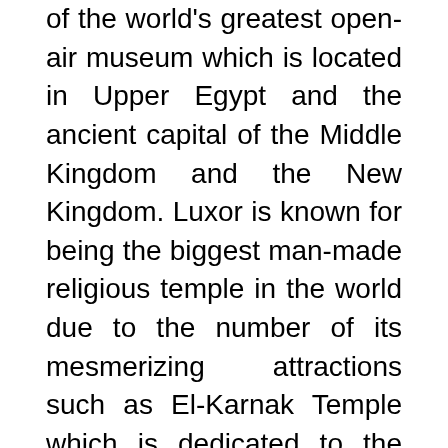of the world's greatest open-air museum which is located in Upper Egypt and the ancient capital of the Middle Kingdom and the New Kingdom. Luxor is known for being the biggest man-made religious temple in the world due to the number of its mesmerizing attractions such as El-Karnak Temple which is dedicated to the holy trinity Amon, Mut, and Khonsu.
The Temple of Luxor is id heaven from above, the Luxor temple is the second largest temple after EL-Karnak Temple which celebrates the harvest festival of Opet. In the heart of the heart is The Valley of the Kings and in its essence is 63 tombs to the biggest names in ancient Egyptian history such as Ramsess the great and Tutankhamen. The masterpiece of Luxor is always The beautiful temple of Queen Hatshepsut, a perfect example of the